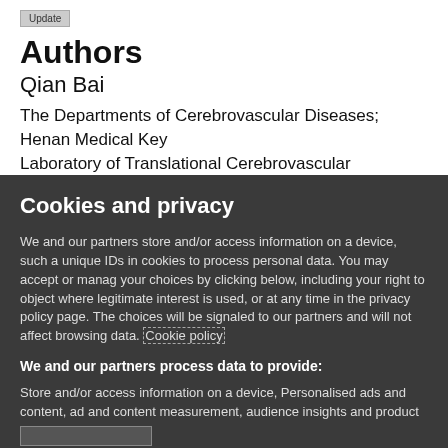[Figure (screenshot): Update button at top of page]
Authors
Qian Bai
The Departments of Cerebrovascular Diseases; Henan Medical Key Laboratory of Translational Cerebrovascular Diseases, The Second
Cookies and privacy
We and our partners store and/or access information on a device, such as unique IDs in cookies to process personal data. You may accept or manage your choices by clicking below, including your right to object where legitimate interest is used, or at any time in the privacy policy page. These choices will be signaled to our partners and will not affect browsing data. Cookie policy
We and our partners process data to provide:
Store and/or access information on a device, Personalised ads and content, ad and content measurement, audience insights and product development, Use precise geolocation data, Actively scan device characteristics for identification
List of Partners (vendors)